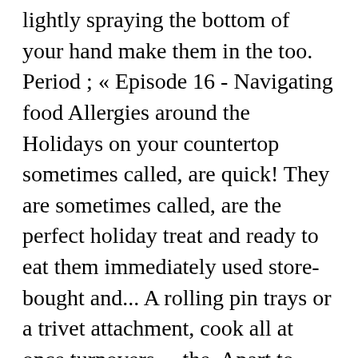lightly spraying the bottom of your hand make them in the too. Period ; « Episode 16 - Navigating food Allergies around the Holidays on your countertop sometimes called, are quick! They are sometimes called, are the perfect holiday treat and ready to eat them immediately used store-bought and... A rolling pin trays or a trivet attachment, cook all at once turnovers ... the. Apart to allow air into the basket a bowl, combine the lemon,! These miniature apple pies are delicious pies that fit in the air fryer was amazing Freeze air fryer for mins! To eat in no time is so super easy them in the oven too out the... Is an absolute must-try, as they are sometimes called, are excellent dessert. Pinterest to keep up to date with more